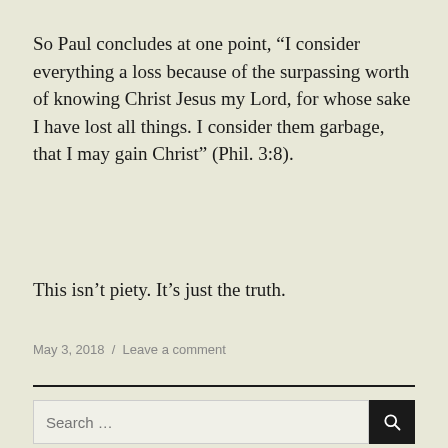So Paul concludes at one point, “I consider everything a loss because of the surpassing worth of knowing Christ Jesus my Lord, for whose sake I have lost all things. I consider them garbage, that I may gain Christ” (Phil. 3:8).
This isn’t piety. It’s just the truth.
May 3, 2018 / Leave a comment